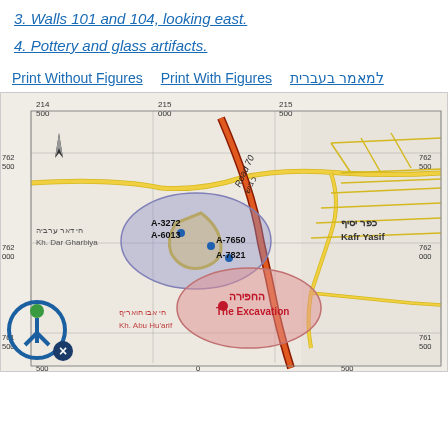3. Walls 101 and 104, looking east.
4. Pottery and glass artifacts.
Print Without Figures   Print With Figures   למאמר בעברית
[Figure (map): Archaeological site map showing excavation area near Kafr Yasif, Israel. Map shows Road 70 (כביש 70) running diagonally, with labeled sites: A-3272, A-6013, A-7650, A-7821 in a blue ellipse area, and 'The Excavation / החפירה' marked in a red ellipse. Also labeled: Kh. Dar Gharbiya / חי דאר ערביה and Kh. Abu Hu'arif / חי אבו חואריף. Grid coordinates shown: 214/500, 215/000, 215/500 on x-axis; 762/500, 762/000, 761/500 on y-axis.]